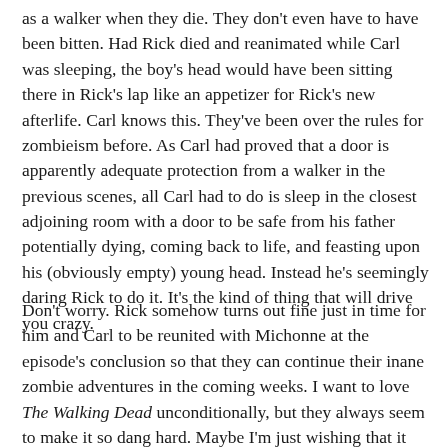as a walker when they die. They don't even have to have been bitten. Had Rick died and reanimated while Carl was sleeping, the boy's head would have been sitting there in Rick's lap like an appetizer for Rick's new afterlife. Carl knows this. They've been over the rules for zombieism before. As Carl had proved that a door is apparently adequate protection from a walker in the previous scenes, all Carl had to do is sleep in the closest adjoining room with a door to be safe from his father potentially dying, coming back to life, and feasting upon his (obviously empty) young head. Instead he's seemingly daring Rick to do it. It's the kind of thing that will drive you crazy.
Don't worry. Rick somehow turns out fine just in time for him and Carl to be reunited with Michonne at the episode's conclusion so that they can continue their inane zombie adventures in the coming weeks. I want to love The Walking Dead unconditionally, but they always seem to make it so dang hard. Maybe I'm just wishing that it would take its incredible store of possibility and become a better show. After three and